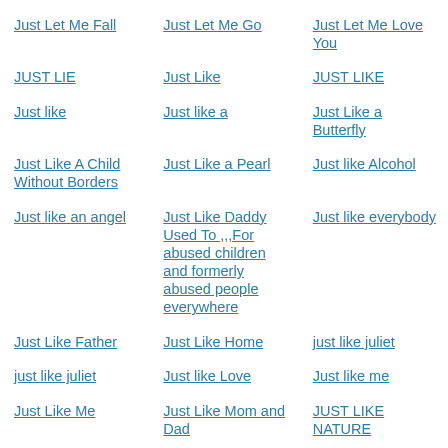Just Let Me Fall
Just Let Me Go
Just Let Me Love You
JUST LIE
Just Like
JUST LIKE
Just like
Just like a
Just Like a Butterfly
Just Like A Child Without Borders
Just Like a Pearl
Just like Alcohol
Just like an angel
Just Like Daddy Used To ,,,For abused children and formerly abused people everywhere
Just like everybody
Just Like Father
Just Like Home
just like juliet
just like juliet
Just like Love
Just like me
Just Like Me
Just Like Mom and Dad
JUST LIKE NATURE